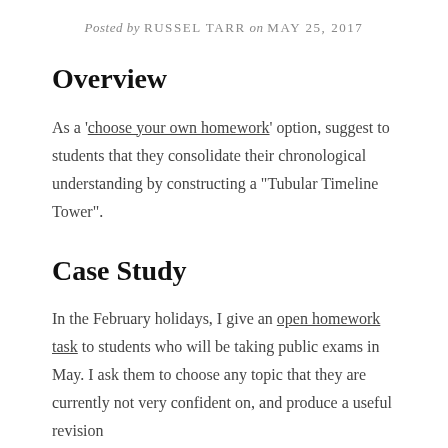Posted by RUSSEL TARR on MAY 25, 2017
Overview
As a 'choose your own homework' option, suggest to students that they consolidate their chronological understanding by constructing a “Tubular Timeline Tower”.
Case Study
In the February holidays, I give an open homework task to students who will be taking public exams in May. I ask them to choose any topic that they are currently not very confident on, and produce a useful revision